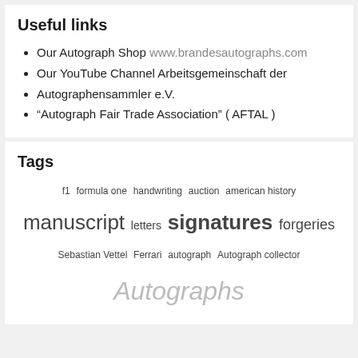Useful links
Our Autograph Shop www.brandesautographs.com
Our YouTube Channel Arbeitsgemeinschaft der
Autographensammler e.V.
“Autograph Fair Trade Association” ( AFTAL )
Tags
f1 formula one handwriting auction american history manuscript letters signatures forgeries Sebastian Vettel Ferrari autograph Autograph collector Autographs